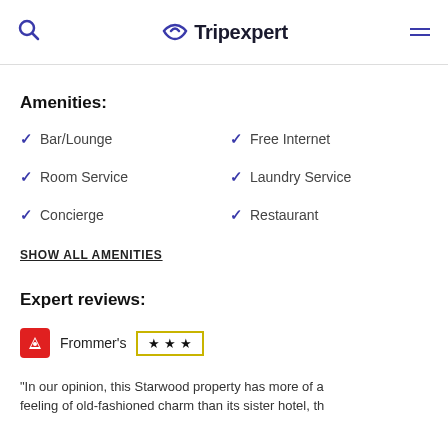Tripexpert
Amenities:
Bar/Lounge
Free Internet
Room Service
Laundry Service
Concierge
Restaurant
SHOW ALL AMENITIES
Expert reviews:
Frommer's ★★★
"In our opinion, this Starwood property has more of a feeling of old-fashioned charm than its sister hotel, th